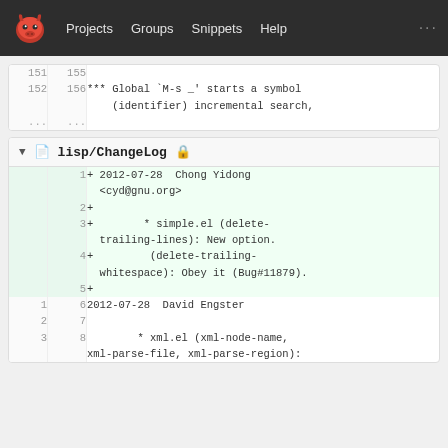[Figure (screenshot): GitLab-style web interface navigation bar with logo (GNU head mascot in orange/red), nav links: Projects, Groups, Snippets, Help, and a '...' menu on the right.]
| old | new | code |
| --- | --- | --- |
| 151 | 155 |  |
| 152 | 156 | *** Global `M-s _' starts a symbol (identifier) incremental search, |
| ... | ... |  |
lisp/ChangeLog
| old | new | code |
| --- | --- | --- |
|  | 1 | + 2012-07-28  Chong Yidong <cyd@gnu.org> |
|  | 2 | + |
|  | 3 | +         * simple.el (delete-trailing-lines): New option. |
|  | 4 | +          (delete-trailing-whitespace): Obey it (Bug#11879). |
|  | 5 | + |
| 1 | 6 | 2012-07-28  David Engster <deng@randomsample.de> |
| 2 | 7 |  |
| 3 | 8 |         * xml.el (xml-node-name, xml-parse-file, xml-parse-region): |